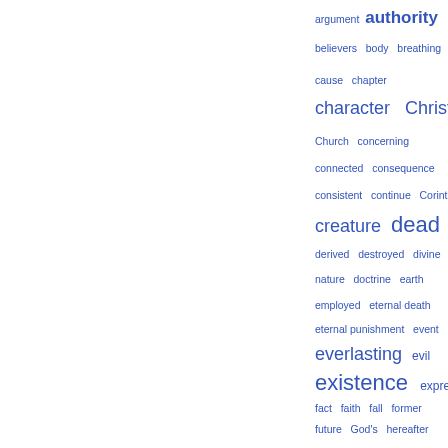[Figure (other): Word cloud or index list of theological/religious terms in varying font sizes, displayed in blue on a white background. Words include: argument, authority, believers, body, breathing, cause, chapter, character, Christ, Church, concerning, connected, consequence, consistent, continue, Corinth, creature, dead, derived, destroyed, divine nature, doctrine, earth, employed, eternal death, eternal punishment, event, everlasting, evil, existence, express, fact, faith, fall, former, future, God's, hereafter, human, human nature, idea, immortality, imply]